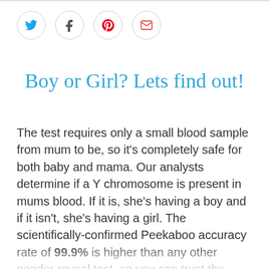[Figure (other): Social media sharing icons: Twitter (blue bird), Facebook (f), Pinterest (p), Email (envelope) — each in a circle outline]
Boy or Girl? Lets find out!
The test requires only a small blood sample from mum to be, so it's completely safe for both baby and mama. Our analysts determine if a Y chromosome is present in mums blood. If it is, she's having a boy and if it isn't, she's having a girl. The scientifically-confirmed Peekaboo accuracy rate of 99.9% is higher than any other gender reveal test, so you can trust the result.